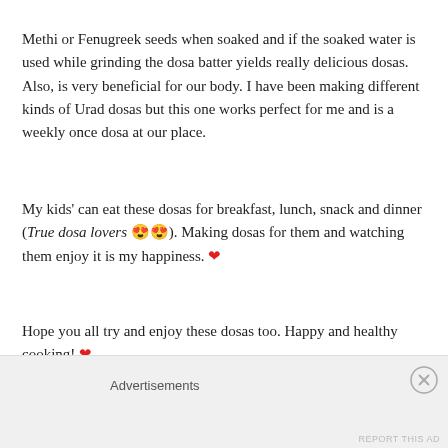Methi or Fenugreek seeds when soaked and if the soaked water is used while grinding the dosa batter yields really delicious dosas. Also, is very beneficial for our body. I have been making different kinds of Urad dosas but this one works perfect for me and is a weekly once dosa at our place.
My kids’ can eat these dosas for breakfast, lunch, snack and dinner (True dosa lovers 😍😍). Making dosas for them and watching them enjoy it is my happiness. ❤
Hope you all try and enjoy these dosas too. Happy and healthy cooking! ❤
RECIPE:
Advertisements